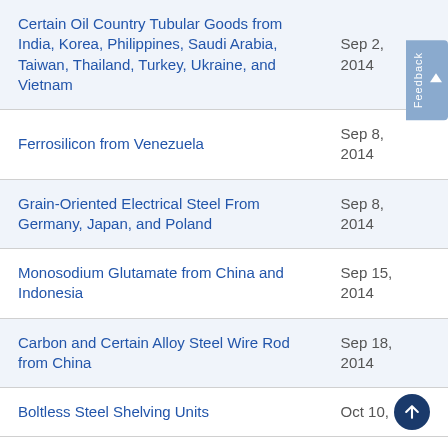| Item | Date |
| --- | --- |
| Certain Oil Country Tubular Goods from India, Korea, Philippines, Saudi Arabia, Taiwan, Thailand, Turkey, Ukraine, and Vietnam | Sep 2, 2014 |
| Ferrosilicon from Venezuela | Sep 8, 2014 |
| Grain-Oriented Electrical Steel From Germany, Japan, and Poland | Sep 8, 2014 |
| Monosodium Glutamate from China and Indonesia | Sep 15, 2014 |
| Carbon and Certain Alloy Steel Wire Rod from China | Sep 18, 2014 |
| Boltless Steel Shelving Units | Oct 10, |